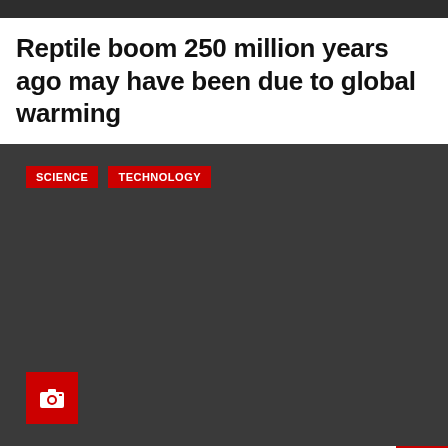Reptile boom 250 million years ago may have been due to global warming
[Figure (photo): Dark image area with SCIENCE and TECHNOLOGY category tags at top left and a camera icon at bottom left, indicating a photo gallery item]
Some artificial sweeteners can raise your blood sugar